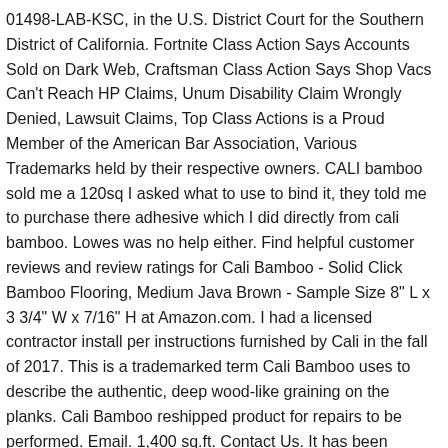01498-LAB-KSC, in the U.S. District Court for the Southern District of California. Fortnite Class Action Says Accounts Sold on Dark Web, Craftsman Class Action Says Shop Vacs Can't Reach HP Claims, Unum Disability Claim Wrongly Denied, Lawsuit Claims, Top Class Actions is a Proud Member of the American Bar Association, Various Trademarks held by their respective owners. CALI bamboo sold me a 120sq I asked what to use to bind it, they told me to purchase there adhesive which I did directly from cali bamboo. Lowes was no help either. Find helpful customer reviews and review ratings for Cali Bamboo - Solid Click Bamboo Flooring, Medium Java Brown - Sample Size 8" L x 3 3/4" W x 7/16" H at Amazon.com. I had a licensed contractor install per instructions furnished by Cali in the fall of 2017. This is a trademarked term Cali Bamboo uses to describe the authentic, deep wood-like graining on the planks. Cali Bamboo reshipped product for repairs to be performed. Email. 1,400 sq.ft. Contact Us. It has been reinstalled 2xs and it is still gapping. Tweet.